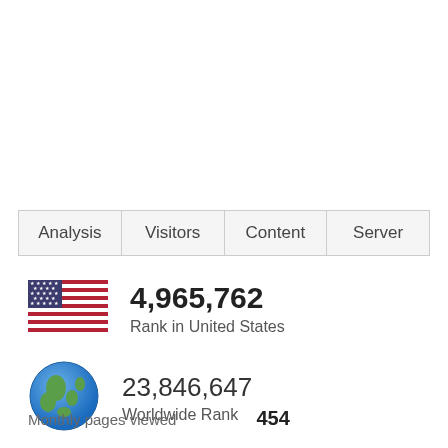[Figure (other): Navigation tab bar with four tabs: Analysis, Visitors, Content, Server]
[Figure (other): US flag icon representing Rank in United States]
4,965,762
Rank in United States
[Figure (other): Globe icon representing Worldwide Rank]
23,846,647
Worldwide Rank
Monthly pages viewed    454